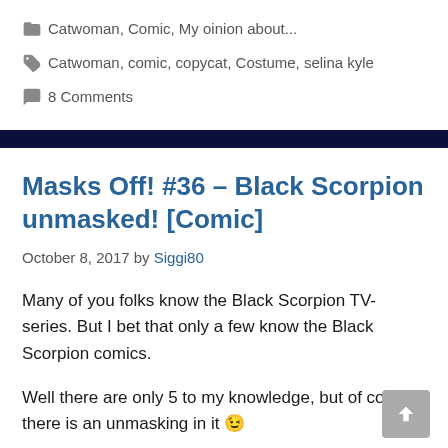Categories: Catwoman, Comic, My oinion about...
Tags: Catwoman, comic, copycat, Costume, selina kyle
8 Comments
Masks Off! #36 – Black Scorpion unmasked! [Comic]
October 8, 2017 by Siggi80
Many of you folks know the Black Scorpion TV-series. But I bet that only a few know the Black Scorpion comics.
Well there are only 5 to my knowledge, but of course there is an unmasking in it 😉